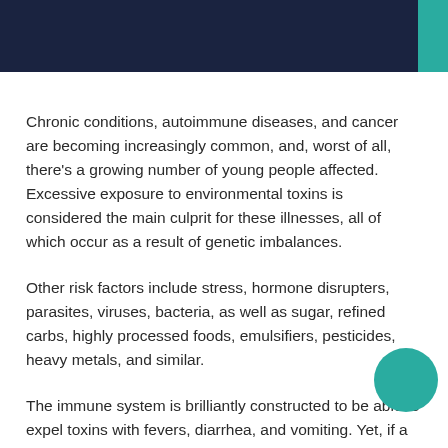Chronic conditions, autoimmune diseases, and cancer are becoming increasingly common, and, worst of all, there's a growing number of young people affected. Excessive exposure to environmental toxins is considered the main culprit for these illnesses, all of which occur as a result of genetic imbalances.
Other risk factors include stress, hormone disrupters, parasites, viruses, bacteria, as well as sugar, refined carbs, highly processed foods, emulsifiers, pesticides, heavy metals, and similar.
The immune system is brilliantly constructed to be able to expel toxins with fevers, diarrhea, and vomiting. Yet, if a